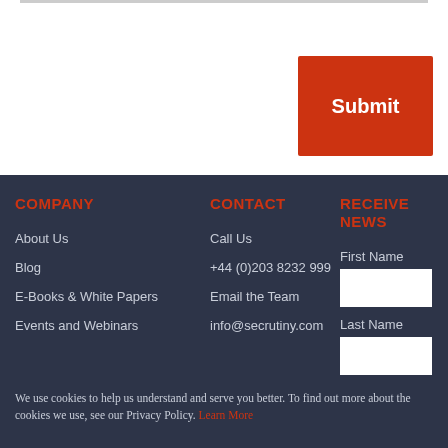Submit
COMPANY
CONTACT
RECEIVE NEWS
About Us
Blog
E-Books & White Papers
Events and Webinars
Call Us
+44 (0)203 8232 999
Email the Team
info@secrutiny.com
First Name
Last Name
GOT IT!
We use cookies to help us understand and serve you better. To find out more about the cookies we use, see our Privacy Policy. Learn More